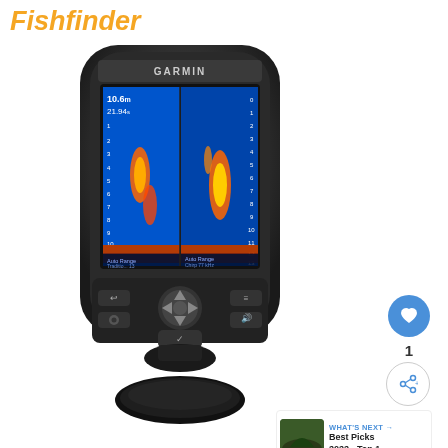Fishfinder
[Figure (photo): Garmin Fishfinder device with color sonar display showing underwater fish readings, dual sonar panels with depth readings (10.6m, 21.94), and navigation buttons below the screen. The device is black with a rounded form factor and mounted on a base stand.]